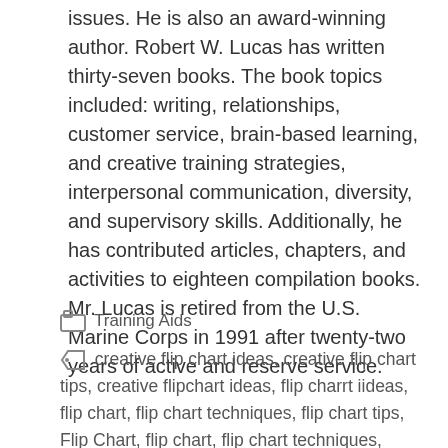issues. He is also an award-winning author. Robert W. Lucas has written thirty-seven books. The book topics included: writing, relationships, customer service, brain-based learning,  and creative training strategies, interpersonal communication, diversity, and supervisory skills. Additionally, he has contributed articles, chapters, and activities to eighteen compilation books. Mr. Lucas is retired from the U.S. Marine Corps in 1991 after twenty-two years of active and reserve service.
Training Aids
creative flip chart ideas, creative flip chart tips, creative flipchart ideas, flip charrt iideas, flip chart, flip chart techniques, flip chart tips, Flip Chart, flip chart, flip chart techniques,